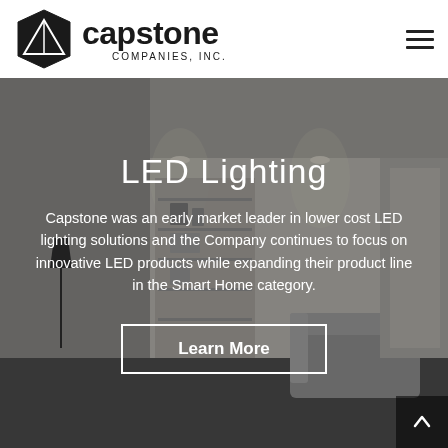[Figure (logo): Capstone Companies, Inc. logo with hexagonal icon and wordmark]
[Figure (photo): Modern interior living room with gray tones, shelving, and furniture as hero background image]
LED Lighting
Capstone was an early market leader in lower cost LED lighting solutions and the Company continues to focus on innovative LED products while expanding their product line in the Smart Home category.
Learn More